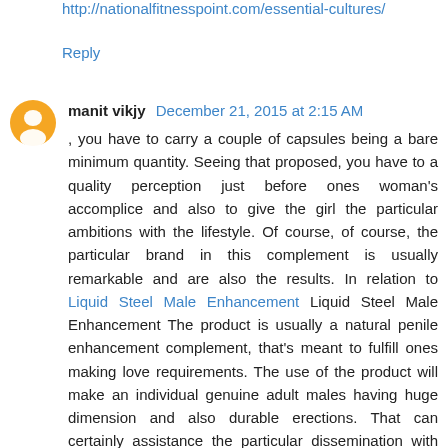http://nationalfitnesspoint.com/essential-cultures/
Reply
manit vikjy  December 21, 2015 at 2:15 AM
, you have to carry a couple of capsules being a bare minimum quantity. Seeing that proposed, you have to a quality perception just before ones woman's accomplice and also to give the girl the particular ambitions with the lifestyle. Of course, of course, the particular brand in this complement is usually remarkable and are also the results. In relation to Liquid Steel Male Enhancement Liquid Steel Male Enhancement The product is usually a natural penile enhancement complement, that's meant to fulfill ones making love requirements. The use of the product will make an individual genuine adult males having huge dimension and also durable erections. That can certainly assistance the particular dissemination with the body, making via just about all http://nationalfitnesspoint.com/liquid-steel-male-enhancement/